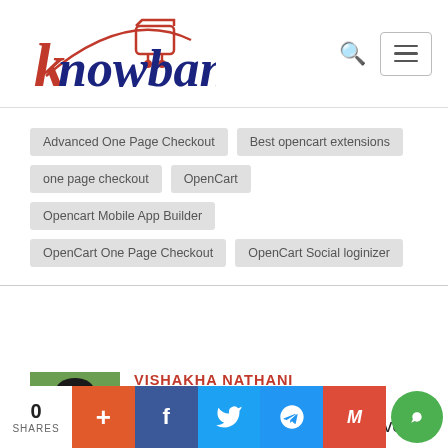Knowband
Advanced One Page Checkout
Best opencart extensions
one page checkout
OpenCart
Opencart Mobile App Builder
OpenCart One Page Checkout
OpenCart Social loginizer
[Figure (photo): Profile photo of Vishakha Nathani]
VISHAKHA NATHANI
Vishakha can be found writing, crafting or digging Earth. Her love for writing made her
0 SHARES